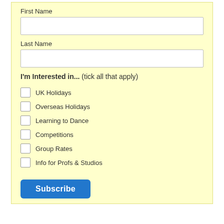First Name
Last Name
I'm Interested in... (tick all that apply)
UK Holidays
Overseas Holidays
Learning to Dance
Competitions
Group Rates
Info for Profs & Studios
Subscribe